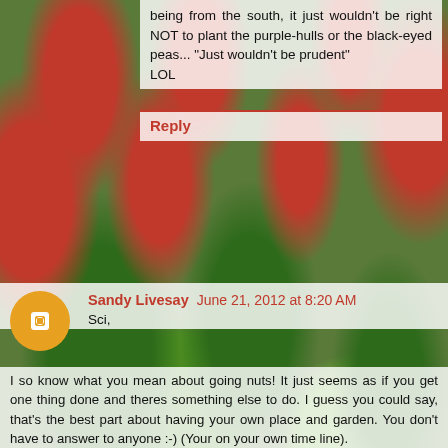being from the south, it just wouldn't be right NOT to plant the purple-hulls or the black-eyed peas... "Just wouldn't be prudent"
LOL
Reply
Sandy Livesay  June 21, 2012 at 8:20 AM
Sci,
I so know what you mean about going nuts! It just seems as if you get one thing done and theres something else to do. I guess you could say, that's the best part about having your own place and garden. You don't have to answer to anyone :-) (Your on your own time line).
Your garden and vegetables look amazing. It's a great idea to maintain a garden journal. This is something I need to do. Especially now, I'm getting older and can't remember crap, lol.... Note to self, creat journal...see!!!!! :-)
Those are some amazing peppers. My pepper plants only produced 1 pepper and are looking terrible. My green chile